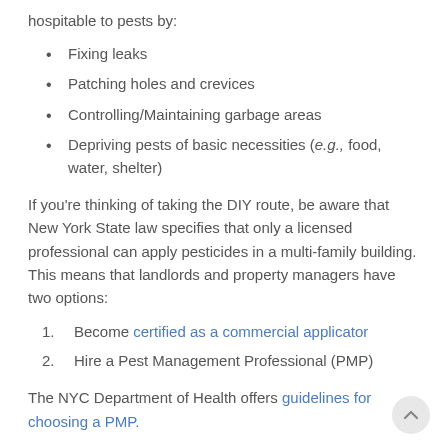hospitable to pests by:
Fixing leaks
Patching holes and crevices
Controlling/Maintaining garbage areas
Depriving pests of basic necessities (e.g., food, water, shelter)
If you're thinking of taking the DIY route, be aware that New York State law specifies that only a licensed professional can apply pesticides in a multi-family building. This means that landlords and property managers have two options:
Become certified as a commercial applicator
Hire a Pest Management Professional (PMP)
The NYC Department of Health offers guidelines for choosing a PMP.